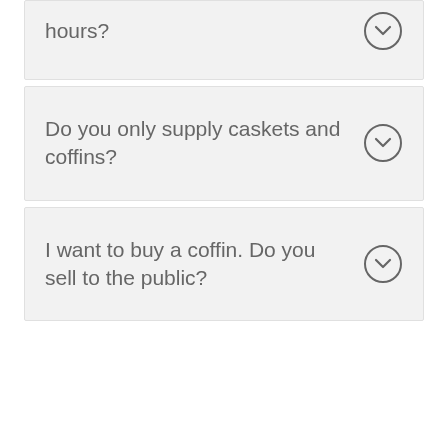hours?
Do you only supply caskets and coffins?
I want to buy a coffin. Do you sell to the public?